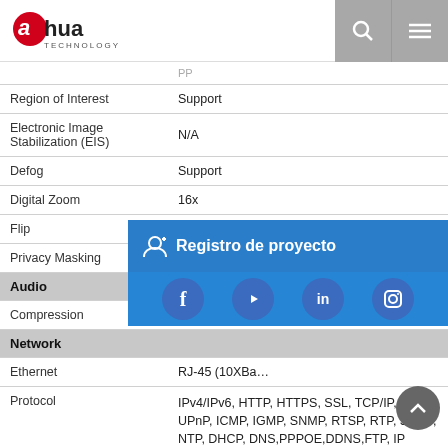alhua TECHNOLOGY
| Feature | Value |
| --- | --- |
| Region of Interest | Support |
| Electronic Image Stabilization (EIS) | N/A |
| Defog | Support |
| Digital Zoom | 16x |
| Flip | 180° |
| Privacy Masking | Up to 24 areas |
| Audio |  |
| Compression | G.711a/G.711… |
| Network |  |
| Ethernet | RJ-45 (10XBa… |
| Protocol | IPv4/IPv6, HTTP, HTTPS, SSL, TCP/IP, UDP, UPnP, ICMP, IGMP, SNMP, RTSP, RTP, SMTP, NTP, DHCP, DNS,PPPOE,DDNS,FTP, IP Filter,QoS,Bonjour,802.1x |
| Interoperability | ONVIF Profile S&G, API |
| Streaming Method | Unicast / Multicast |